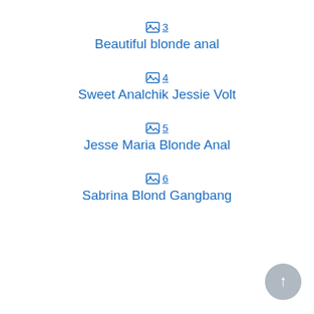🖼 3
Beautiful blonde anal
🖼 4
Sweet Analchik Jessie Volt
🖼 5
Jesse Maria Blonde Anal
🖼 6
Sabrina Blond Gangbang